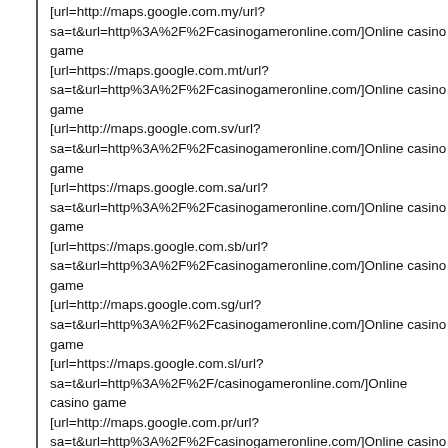[url=http://maps.google.com.my/url?sa=t&url=http%3A%2F%2Fcasinogameronline.com/]Online casino game
[url=https://maps.google.com.mt/url?sa=t&url=http%3A%2F%2Fcasinogameronline.com/]Online casino game
[url=http://maps.google.com.sv/url?sa=t&url=http%3A%2F%2Fcasinogameronline.com/]Online casino game
[url=https://maps.google.com.sa/url?sa=t&url=http%3A%2F%2Fcasinogameronline.com/]Online casino game
[url=https://maps.google.com.sb/url?sa=t&url=http%3A%2F%2Fcasinogameronline.com/]Online casino game
[url=http://maps.google.com.sg/url?sa=t&url=http%3A%2F%2Fcasinogameronline.com/]Online casino game
[url=https://maps.google.com.sl/url?sa=t&url=http%3A%2F%2F/casinogameronline.com/]Online casino game
[url=http://maps.google.com.pr/url?sa=t&url=http%3A%2F%2Fcasinogameronline.com/]Online casino game
[url=http://maps.google.com.py/url?sa=t&url=http%3A%2F%2Fcasinogameronline.com/]Online casino game
[url=https://maps.google.com.pa/url?sa=t&url=http%3A%2F%2Fcasinogameronline.com/]Online casino game
[url=http://maps.google.com.pg/url?sa=t&url=http%3A%2F%2Fcasinogameronline.com/]Online casino game
[url=https://maps.google.com.pe/url?sa=t&url=http%3A%2F%2Fcasinogameronline.com/]Online casino game
[url=https://maps.google.com.ph/url?sa=t&url=http%3A%2F%2Fcasinogameronline.com/]Online casino game
[url=https://maps.google.com.qa/url?sa=t&url=http%3A%2F%2Fcasinogameronline.com/]Online casino game
[url=https://maps.google.com.vc/url?